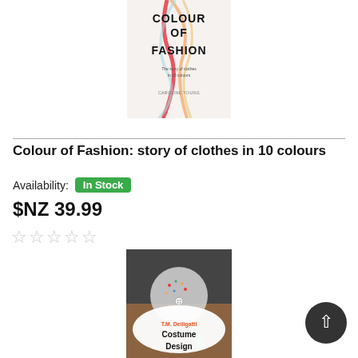[Figure (illustration): Book cover for 'Colour of Fashion: The story of clothes in 10 colours' by Caroline Young. Light background with colourful ribbons and large text.]
Colour of Fashion: story of clothes in 10 colours
Availability: In Stock
$NZ 39.99
☆☆☆☆☆
[Figure (photo): Book cover for 'Costume Design' by T.M. Deiligatti. Shows sewing materials including thread, buttons, scissors on a table.]